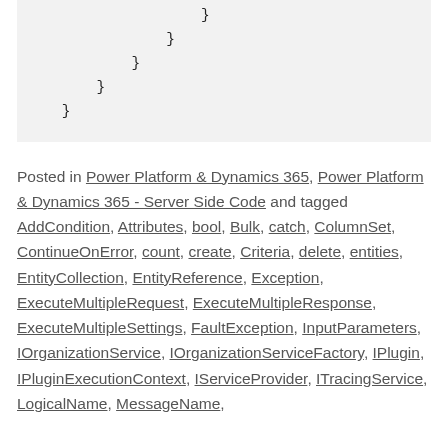}
        }
            }
                }
                    }
Posted in Power Platform & Dynamics 365, Power Platform & Dynamics 365 - Server Side Code and tagged AddCondition, Attributes, bool, Bulk, catch, ColumnSet, ContinueOnError, count, create, Criteria, delete, entities, EntityCollection, EntityReference, Exception, ExecuteMultipleRequest, ExecuteMultipleResponse, ExecuteMultipleSettings, FaultException, InputParameters, IOrganizationService, IOrganizationServiceFactory, IPlugin, IPluginExecutionContext, IServiceProvider, ITracingService, LogicalName, MessageName,